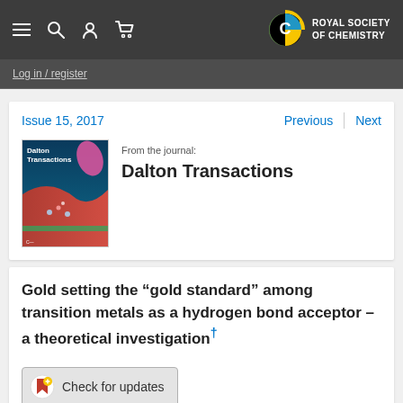Royal Society of Chemistry — navigation bar
Log in / register
Issue 15, 2017
Previous   Next
[Figure (photo): Cover image of Dalton Transactions journal]
From the journal: Dalton Transactions
Gold setting the “gold standard” among transition metals as a hydrogen bond acceptor – a theoretical investigation†
[Figure (other): CrossMark button: Check for updates]